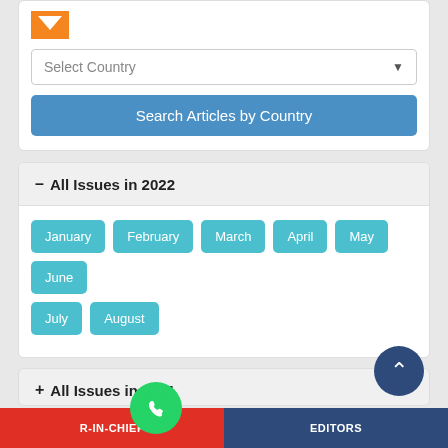[Figure (logo): Orange M-shaped logo icon]
Select Country
Search Articles by Country
– All Issues in 2022
January
February
March
April
May
June
July
August
+ All Issues in 2021
+ All Issues in 2020
R-IN-CHIEF   EDITORS